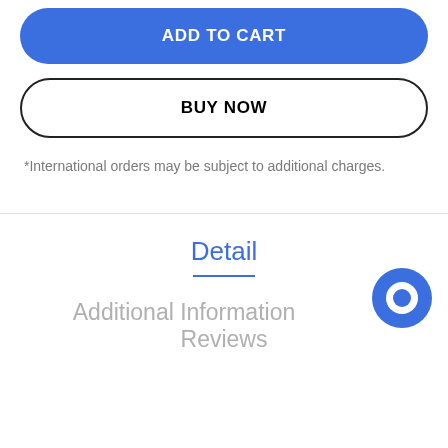ADD TO CART
BUY NOW
*International orders may be subject to additional charges.
Detail
Additional Information
Reviews